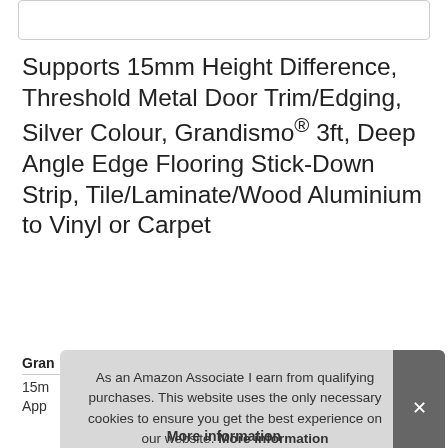[Figure (other): Empty bordered box at top of page]
Supports 15mm Height Difference, Threshold Metal Door Trim/Edging, Silver Colour, Grandismo® 3ft, Deep Angle Edge Flooring Stick-Down Strip, Tile/Laminate/Wood Aluminium to Vinyl or Carpet
Gran
15m
App
As an Amazon Associate I earn from qualifying purchases. This website uses the only necessary cookies to ensure you get the best experience on our website. More information
More information